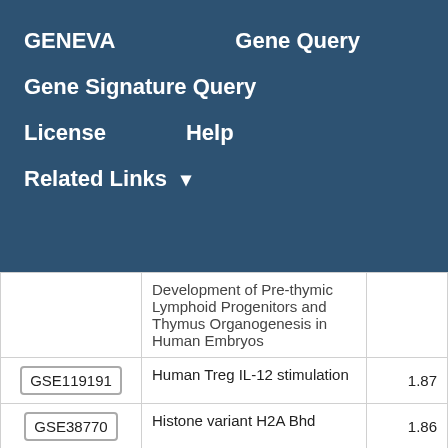GENEVA   Gene Query
Gene Signature Query
License   Help
Related Links ▾
| GSE ID | Description | Score |
| --- | --- | --- |
|  | Development of Pre-thymic Lymphoid Progenitors and Thymus Organogenesis in Human Embryos |  |
| GSE119191 | Human Treg IL-12 stimulation | 1.87 |
| GSE38770 | Histone variant H2A Bhd | 1.86 |